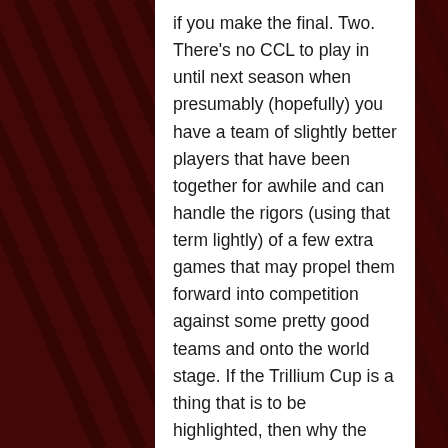if you make the final. Two. There's no CCL to play in until next season when presumably (hopefully) you have a team of slightly better players that have been together for awhile and can handle the rigors (using that term lightly) of a few extra games that may propel them forward into competition against some pretty good teams and onto the world stage. If the Trillium Cup is a thing that is to be highlighted, then why the hell wouldn't you want to win this and move forward? Players like to play and they like to win; why would you basically tell them 'don't bother